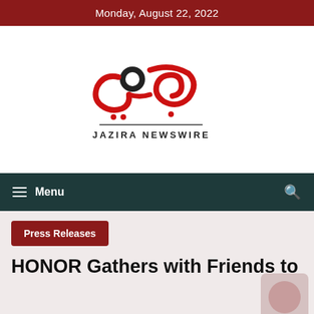Monday, August 22, 2022
[Figure (logo): Jazira Newswire logo — Arabic calligraphic text in red with a black droplet/circle icon above, and 'JAZIRA NEWSWIRE' in black capitals below]
≡ Menu
Press Releases
HONOR Gathers with Friends to